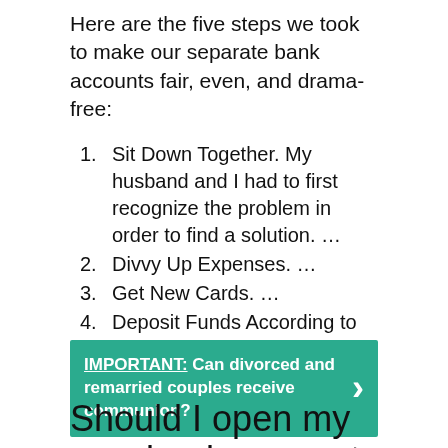Here are the five steps we took to make our separate bank accounts fair, even, and drama-free:
Sit Down Together. My husband and I had to first recognize the problem in order to find a solution. …
Divvy Up Expenses. …
Get New Cards. …
Deposit Funds According to Need. …
Save the Remaining Balances.
IMPORTANT: Can divorced and remarried couples receive communion?
Should I open my own bank account before divorce?